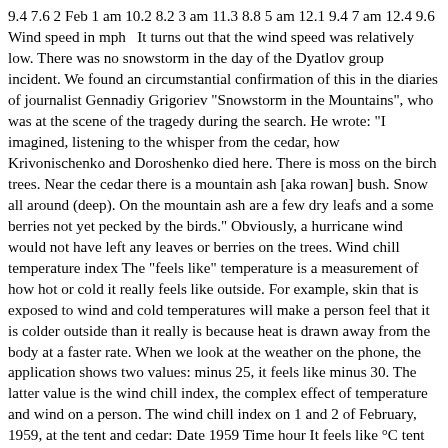9.4 7.6 2 Feb 1 am 10.2 8.2 3 am 11.3 8.8 5 am 12.1 9.4 7 am 12.4 9.6 Wind speed in mph   It turns out that the wind speed was relatively low. There was no snowstorm in the day of the Dyatlov group incident. We found an circumstantial confirmation of this in the diaries of journalist Gennadiy Grigoriev "Snowstorm in the Mountains", who was at the scene of the tragedy during the search. He wrote: "I imagined, listening to the whisper from the cedar, how Krivonischenko and Doroshenko died here. There is moss on the birch trees. Near the cedar there is a mountain ash [aka rowan] bush. Snow all around (deep). On the mountain ash are a few dry leafs and a some berries not yet pecked by the birds." Obviously, a hurricane wind would not have left any leaves or berries on the trees. Wind chill temperature index The "feels like" temperature is a measurement of how hot or cold it really feels like outside. For example, skin that is exposed to wind and cold temperatures will make a person feel that it is colder outside than it really is because heat is drawn away from the body at a faster rate. When we look at the weather on the phone, the application shows two values: minus 25, it feels like minus 30. The latter value is the wind chill index, the complex effect of temperature and wind on a person. The wind chill index on 1 and 2 of February, 1959, at the tent and cedar: Date 1959 Time hour It feels like °C tent cedar 1 Feb 1 pm -26.5 -23.4 3 pm -27.7 -24.4 5 pm -28.7 -25.3 7 pm -30.3 -27.2 9 pm -31.8 -29.0 11 pm -36.5 -33.8 2 Feb 1 am -41.6 -39.0 3 am -45.9 -43.1 5 am -48.9 -46.0 7 am -50.5 -47.6 9 am -49.7 -46.6 11 am